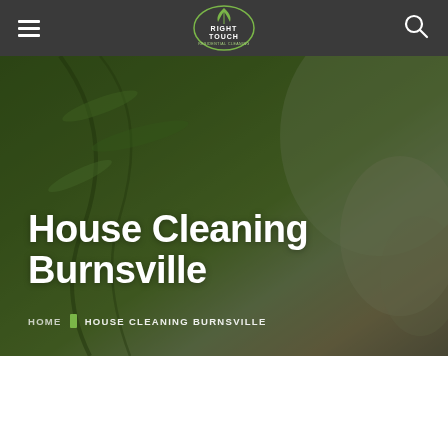Right Touch Residential Cleaning — navigation bar with hamburger menu and search icon
[Figure (logo): Right Touch Residential Cleaning logo — circular emblem with leaf/plant motif and text]
House Cleaning Burnsville
HOME | HOUSE CLEANING BURNSVILLE